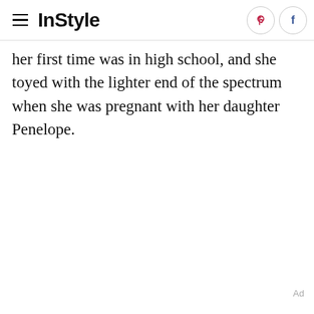InStyle
her first time was in high school, and she toyed with the lighter end of the spectrum when she was pregnant with her daughter Penelope.
Ad